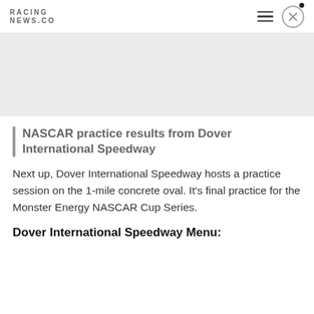RACING NEWS.CO
[Figure (other): Gray advertisement banner placeholder]
NASCAR practice results from Dover International Speedway
Next up, Dover International Speedway hosts a practice session on the 1-mile concrete oval. It's final practice for the Monster Energy NASCAR Cup Series.
Dover International Speedway Menu: